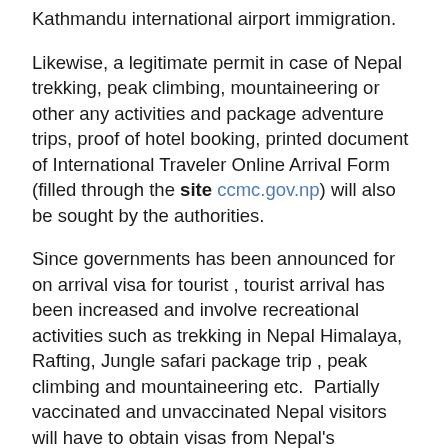Kathmandu international airport immigration.
Likewise, a legitimate permit in case of Nepal trekking, peak climbing, mountaineering or other any activities and package adventure trips, proof of hotel booking, printed document of International Traveler Online Arrival Form (filled through the site ccmc.gov.np) will also be sought by the authorities.
Since governments has been announced for on arrival visa for tourist , tourist arrival has been increased and involve recreational activities such as trekking in Nepal Himalaya, Rafting, Jungle safari package trip , peak climbing and mountaineering etc.  Partially vaccinated and unvaccinated Nepal visitors will have to obtain visas from Nepal's embassies in their home countries or elsewhere.
We are delight to inform our valued clients , we Himalaya Journey Trekking also arrange Dozen of trekking tour groups after government announced on arrival visa for tourist. Nepal is one of most exciting destination for trekking in Nepal Himalaya as well as historical sightseeing tour ,Jungle safari tour and other package adventure trip  thus numerous travelers visit around the year. Keep your thrilling adventure